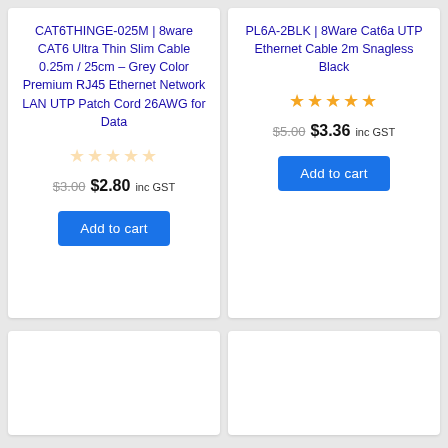CAT6THINGE-025M | 8ware CAT6 Ultra Thin Slim Cable 0.25m / 25cm – Grey Color Premium RJ45 Ethernet Network LAN UTP Patch Cord 26AWG for Data
[Figure (other): Star rating: empty stars (no fill)]
$3.00  $2.80 inc GST
Add to cart
PL6A-2BLK | 8Ware Cat6a UTP Ethernet Cable 2m Snagless Black
[Figure (other): Star rating: 5 filled stars]
$5.00  $3.36 inc GST
Add to cart